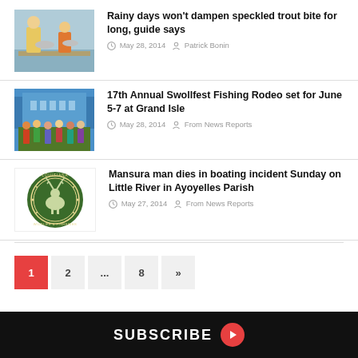[Figure (photo): Two people holding fish on a boat, outdoor fishing scene]
Rainy days won't dampen speckled trout bite for long, guide says
May 28, 2014   Patrick Bonin
[Figure (photo): Group of people at a fishing event holding fish, colorful shirts]
17th Annual Swollfest Fishing Rodeo set for June 5-7 at Grand Isle
May 28, 2014   From News Reports
[Figure (logo): Louisiana Wildlife and Fisheries circular badge/logo with deer]
Mansura man dies in boating incident Sunday on Little River in Ayoyelles Parish
May 27, 2014   From News Reports
1  2  ...  8  »
SUBSCRIBE